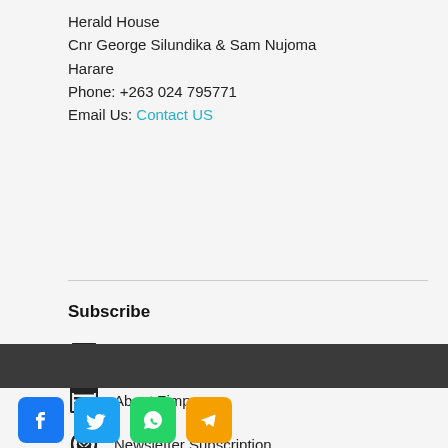Herald House
Cnr George Silundika & Sam Nujoma
Harare
Phone: +263 024 795771
Email Us: Contact US
Subscribe
Paper Subscription
About Zimpapers
Newsletter Subscription
Advertise
Social media icons: Facebook, Twitter, WhatsApp, Telegram